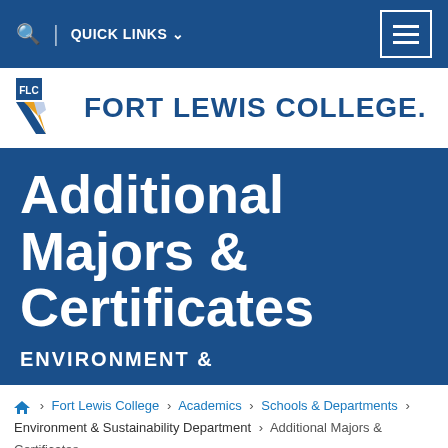QUICK LINKS
[Figure (logo): Fort Lewis College logo with FLC emblem and wordmark]
Additional Majors & Certificates
ENVIRONMENT &
Fort Lewis College > Academics > Schools & Departments > Environment & Sustainability Department > Additional Majors & Certificates